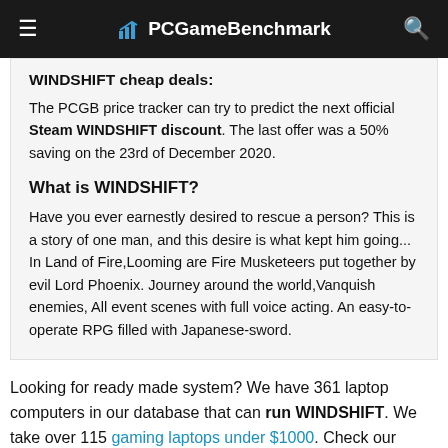PCGameBenchmark
WINDSHIFT cheap deals:
The PCGB price tracker can try to predict the next official Steam WINDSHIFT discount. The last offer was a 50% saving on the 23rd of December 2020.
What is WINDSHIFT?
Have you ever earnestly desired to rescue a person? This is a story of one man, and this desire is what kept him going... In Land of Fire,Looming are Fire Musketeers put together by evil Lord Phoenix. Journey around the world,Vanquish enemies, All event scenes with full voice acting. An easy-to-operate RPG filled with Japanese-sword.
Looking for ready made system? We have 361 laptop computers in our database that can run WINDSHIFT. We take over 115 gaming laptops under $1000. Check our